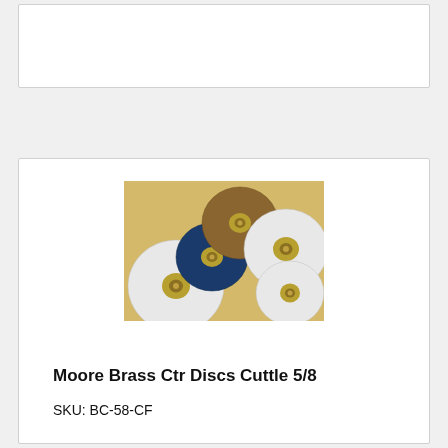[Figure (photo): Product photo showing Moore Brass Center Discs Cuttlefish 5/8 - several circular sanding/polishing discs with brass centers against a yellow background. Discs include white, dark blue/black, and brown abrasive discs with gold brass center fasteners.]
Moore Brass Ctr Discs Cuttle 5/8
SKU: BC-58-CF